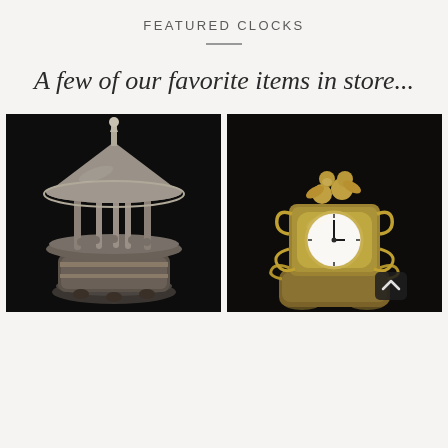FEATURED CLOCKS
A few of our favorite items in store...
[Figure (photo): Silver ornate carousel-style music box clock on dark background]
[Figure (photo): Gold antique mantel clock with cherub figurines on top, white clock face, on dark background]